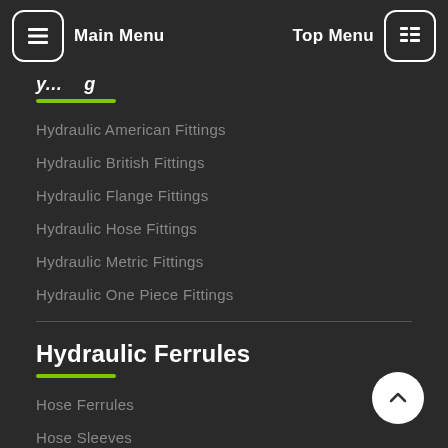Main Menu | Top Menu
Hydraulic Fittings (partial)
Hydraulic American Fittings
Hydraulic British Fittings
Hydraulic Flange Fittings
Hydraulic Hose Fittings
Hydraulic Metric Fittings
Hydraulic One Piece Fittings
Hydraulic Ferrules
Hose Ferrules
Hose Sleeves
Hydraulic Collars